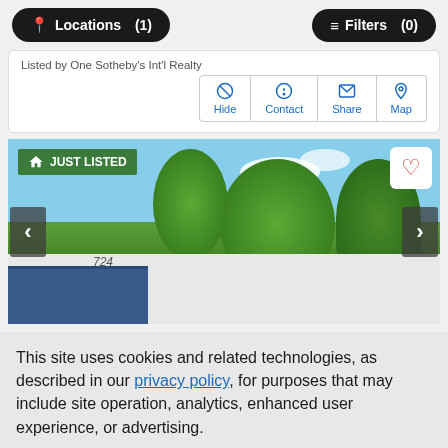Locations (1)   Filters (0)
Listed by One Sotheby's Int'l Realty
Hide  Contact  Share  Map
[Figure (photo): Exterior photo of a single-story residential home with large trees in the foreground against a blue sky, tagged as 'JUST LISTED']
This site uses cookies and related technologies, as described in our privacy policy, for purposes that may include site operation, analytics, enhanced user experience, or advertising.
Manage Preferences   Accept